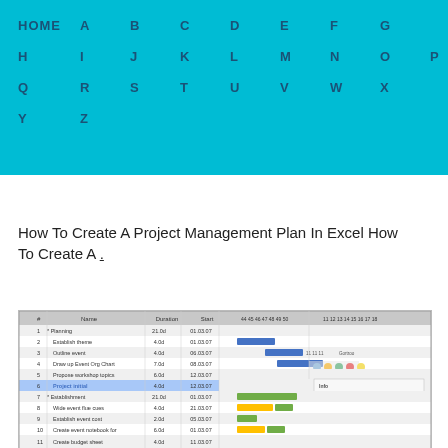HOME A B C D E F G H I J K L M N O P Q R S T U V W X Y Z
How To Create A Project Management Plan In Excel How To Create A .
[Figure (screenshot): Screenshot of a Microsoft Project Gantt chart showing a project management plan with tasks including Planning, Establish theme, Outline event, Draw up Event Org Chart, Propose workshop topics, Project initial, Establishment, Wide event flue cues, Establish event cost, Create event notebook for, Create budget sheet. Columns show #, Name, Duration, Start and a Gantt chart on the right. Task 6 'Project initial' is highlighted in blue. An info panel is visible on the right side.]